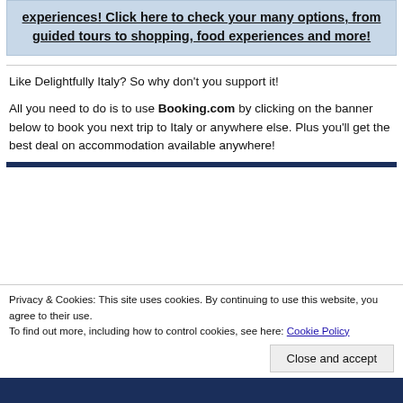experiences! Click here to check your many options, from guided tours to shopping, food experiences and more!
Like Delightfully Italy? So why don't you support it!
All you need to do is to use Booking.com by clicking on the banner below to book you next trip to Italy or anywhere else. Plus you'll get the best deal on accommodation available anywhere!
Privacy & Cookies: This site uses cookies. By continuing to use this website, you agree to their use.
To find out more, including how to control cookies, see here: Cookie Policy
Close and accept